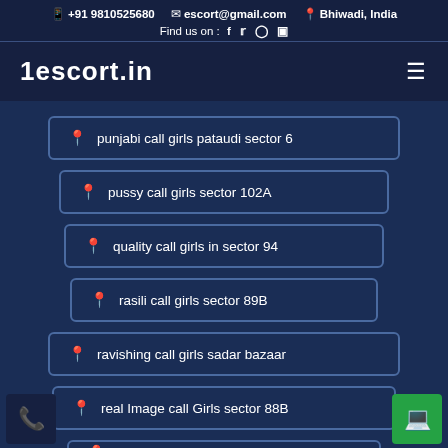+91 9810525680  escort@gmail.com  Bhiwadi, India  Find us on : f tw ig yt
1escort.in
punjabi call girls pataudi sector 6
pussy call girls sector 102A
quality call girls in sector 94
rasili call girls sector 89B
ravishing call girls sadar bazaar
real Image call Girls sector 88B
red bra call girls sector 90